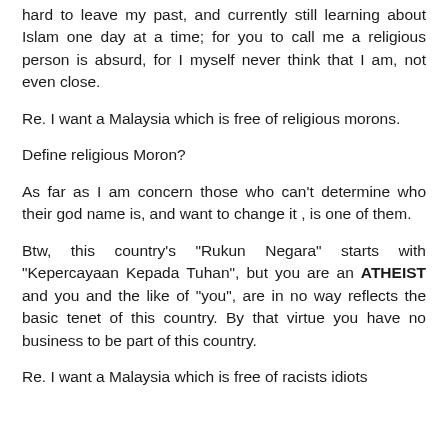hard to leave my past, and currently still learning about Islam one day at a time; for you to call me a religious person is absurd, for I myself never think that I am, not even close.
Re. I want a Malaysia which is free of religious morons.
Define religious Moron?
As far as I am concern those who can't determine who their god name is, and want to change it , is one of them.
Btw, this country's "Rukun Negara" starts with "Kepercayaan Kepada Tuhan", but you are an ATHEIST and you and the like of "you", are in no way reflects the basic tenet of this country. By that virtue you have no business to be part of this country.
Re. I want a Malaysia which is free of racists idiots